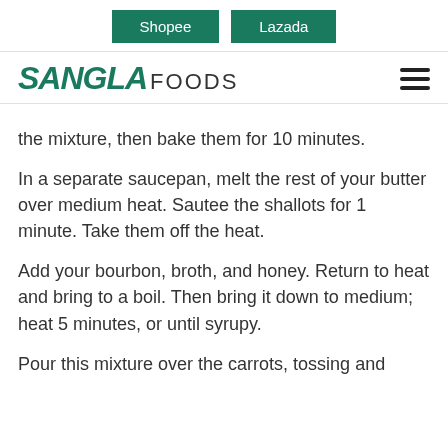Shopee   Lazada
SANGLA FOODS
the mixture, then bake them for 10 minutes.
In a separate saucepan, melt the rest of your butter over medium heat. Sautee the shallots for 1 minute. Take them off the heat.
Add your bourbon, broth, and honey. Return to heat and bring to a boil. Then bring it down to medium; heat 5 minutes, or until syrupy.
Pour this mixture over the carrots, tossing and